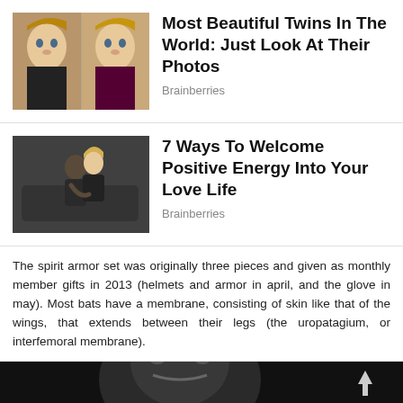[Figure (photo): Two young blonde girls (twins) looking at the camera]
Most Beautiful Twins In The World: Just Look At Their Photos
Brainberries
[Figure (photo): Couple embracing, man dipping woman near a vehicle]
7 Ways To Welcome Positive Energy Into Your Love Life
Brainberries
The spirit armor set was originally three pieces and given as monthly member gifts in 2013 (helmets and armor in april, and the glove in may). Most bats have a membrane, consisting of skin like that of the wings, that extends between their legs (the uropatagium, or interfemoral membrane).
[Figure (photo): Dark/black and white photo partially visible at bottom of page, with an upward arrow icon]